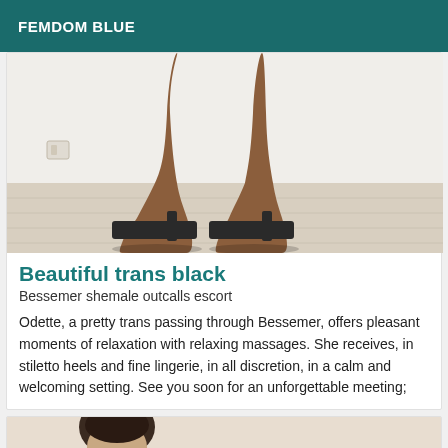FEMDOM BLUE
[Figure (photo): Legs of a person wearing black high heel stiletto platform shoes, standing on a light wood floor against a white wall.]
Beautiful trans black
Bessemer shemale outcalls escort
Odette, a pretty trans passing through Bessemer, offers pleasant moments of relaxation with relaxing massages. She receives, in stiletto heels and fine lingerie, in all discretion, in a calm and welcoming setting. See you soon for an unforgettable meeting;
[Figure (photo): Partial view of a person with dark hair, cropped at the bottom of the page.]